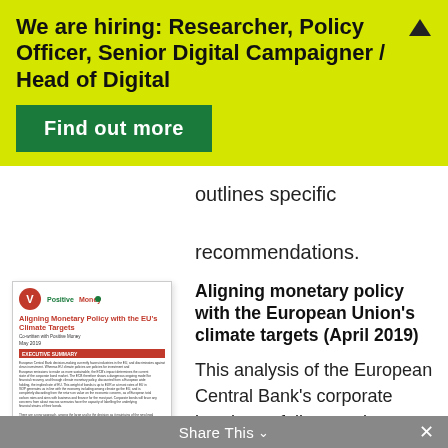We are hiring: Researcher, Policy Officer, Senior Digital Campaigner / Head of Digital
Find out more
outlines specific recommendations.
[Figure (other): Thumbnail of a document titled 'Aligning Monetary Policy with the EU's Climate Targets' with logos and body text]
Aligning monetary policy with the European Union's climate targets (April 2019)
This analysis of the European Central Bank's corporate bonds portfolio reveals a worrying gap between the
Share This ∨  ×